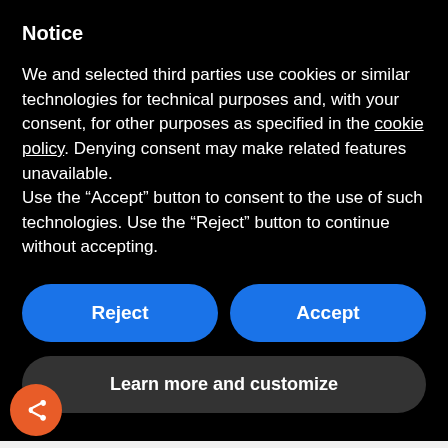Notice
We and selected third parties use cookies or similar technologies for technical purposes and, with your consent, for other purposes as specified in the cookie policy. Denying consent may make related features unavailable.
Use the “Accept” button to consent to the use of such technologies. Use the “Reject” button to continue without accepting.
Reject
Accept
Learn more and customize
European property for sale and to rent
UK estates, farms & land to rent
Valuations
Removals